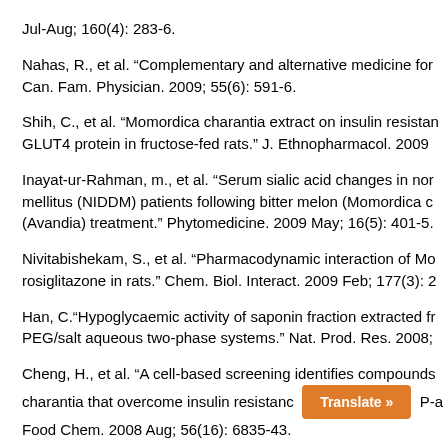Jul-Aug; 160(4): 283-6.
Nahas, R., et al. “Complementary and alternative medicine for Can. Fam. Physician. 2009; 55(6): 591-6.
Shih, C., et al. “Momordica charantia extract on insulin resistance GLUT4 protein in fructose-fed rats.” J. Ethnopharmacol. 2009
Inayat-ur-Rahman, m., et al. “Serum sialic acid changes in non mellitus (NIDDM) patients following bitter melon (Momordica c (Avandia) treatment.” Phytomedicine. 2009 May; 16(5): 401-5.
Nivitabishekam, S., et al. “Pharmacodynamic interaction of Mo rosiglitazone in rats.” Chem. Biol. Interact. 2009 Feb; 177(3): 2
Han, C.“Hypoglycaemic activity of saponin fraction extracted fr PEG/salt aqueous two-phase systems.” Nat. Prod. Res. 2008;
Cheng, H., et al. “A cell-based screening identifies compounds charantia that overcome insulin resistanc P-a Food Chem. 2008 Aug; 56(16): 6835-43.